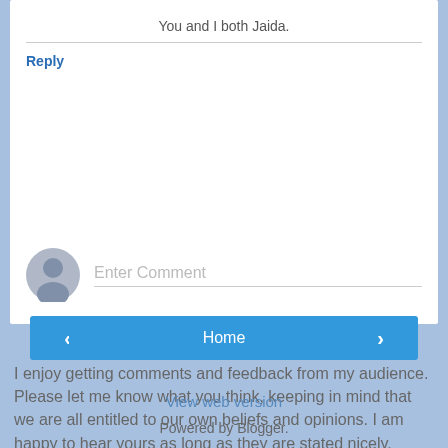You and I both Jaida.
Reply
[Figure (illustration): Enter Comment input field with user avatar icon on the left and placeholder text 'Enter Comment']
I enjoy getting comments and feedback from my audience. Please let me know what you think, keeping in mind that we are all entitled to our own beliefs and opinions. I am happy to hear yours as long as they are stated nicely.
‹
Home
›
View web version
Powered by Blogger.